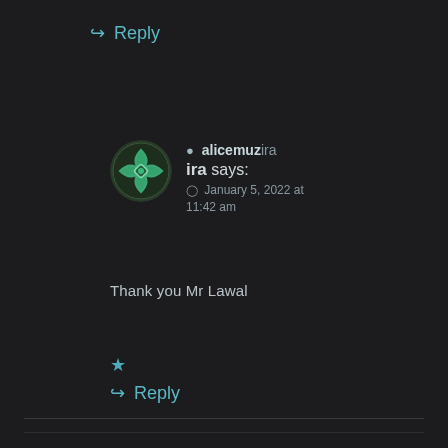↪ Reply
alicemuzira says: January 5, 2022 at 11:42 am
Thank you Mr Lawal
★
↪ Reply